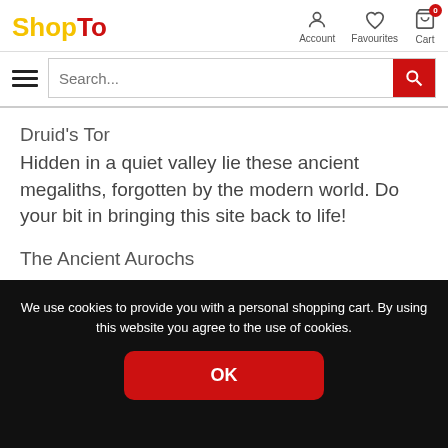ShopTo — Account, Favourites, Cart
Druid's Tor
Hidden in a quiet valley lie these ancient megaliths, forgotten by the modern world. Do your bit in bringing this site back to life!
The Ancient Aurochs
One of Britain's oldest inns, this charming setting seems to be the perfect place to spend the day mowing.
We use cookies to provide you with a personal shopping cart. By using this website you agree to the use of cookies.